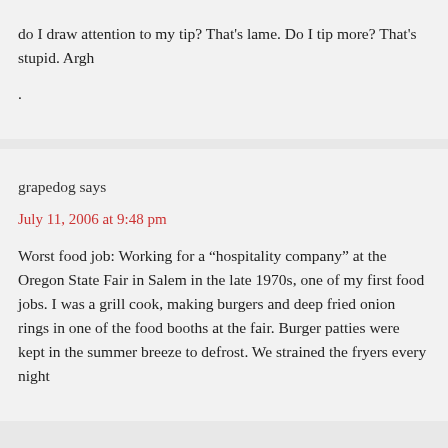do I draw attention to my tip? That's lame. Do I tip more? That's stupid. Argh
.
grapedog says
July 11, 2006 at 9:48 pm
Worst food job: Working for a “hospitality company” at the Oregon State Fair in Salem in the late 1970s, one of my first food jobs. I was a grill cook, making burgers and deep fried onion rings in one of the food booths at the fair. Burger patties were kept in the summer breeze to defrost. We strained the fryers every night